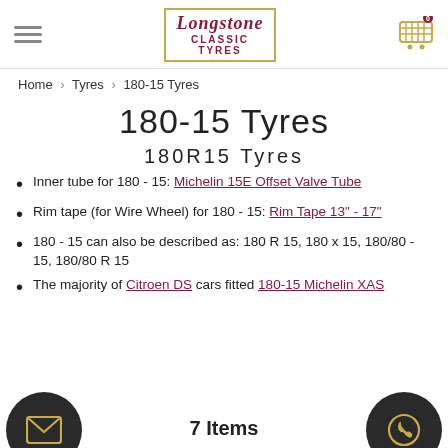Longstone Classic Tyres
Home > Tyres > 180-15 Tyres
180-15 Tyres
180R15 Tyres
Inner tube for 180 - 15: Michelin 15E Offset Valve Tube
Rim tape (for Wire Wheel) for 180 - 15: Rim Tape 13" - 17"
180 - 15 can also be described as: 180 R 15, 180 x 15, 180/80 - 15, 180/80 R 15
The majority of Citroen DS cars fitted 180-15 Michelin XAS
7 Items